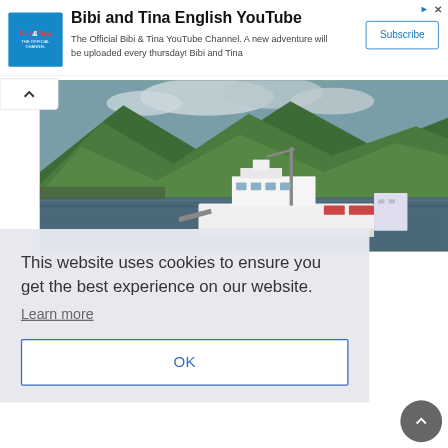[Figure (screenshot): Advertisement banner for Bibi and Tina English YouTube channel with channel logo, description text, and Subscribe button]
Bibi and Tina English YouTube
The Official Bibi & Tina YouTube Channel. A new adventure will be uploaded every thursday! Bibi and Tina
[Figure (photo): A ferry vessel on water with green hills/mountains in the background]
This website uses cookies to ensure you get the best experience on our website.
Learn more
OK